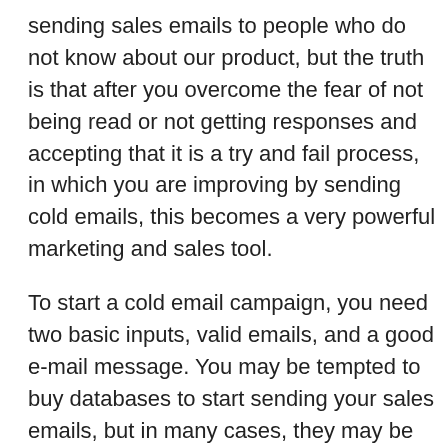sending sales emails to people who do not know about our product, but the truth is that after you overcome the fear of not being read or not getting responses and accepting that it is a try and fail process, in which you are improving by sending cold emails, this becomes a very powerful marketing and sales tool.
To start a cold email campaign, you need two basic inputs, valid emails, and a good e-mail message. You may be tempted to buy databases to start sending your sales emails, but in many cases, they may be full of bad emails or simply emails that are not in your target market. I tell you because at Toky we bought one once and we lost our money since it had bad emails and when reviewing them in detail, the valid